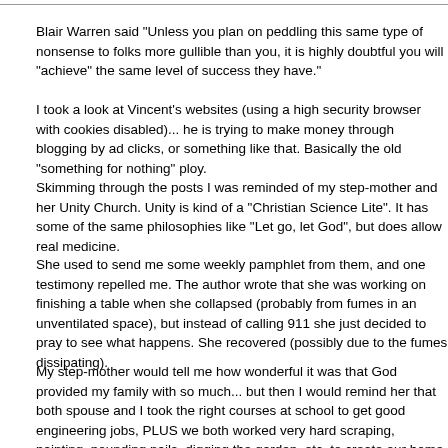Blair Warren said "Unless you plan on peddling this same type of nonsense to folks more gullible than you, it is highly doubtful you will "achieve" the same level of success they have."
I took a look at Vincent's websites (using a high security browser with cookies disabled)... he is trying to make money through blogging by ad clicks, or something like that. Basically the old "something for nothing" ploy.
Skimming through the posts I was reminded of my step-mother and her Unity Church. Unity is kind of a "Christian Science Lite". It has some of the same philosophies like "Let go, let God", but does allow real medicine.
She used to send me some weekly pamphlet from them, and one testimony repelled me. The author wrote that she was working on finishing a table when she collapsed (probably from fumes in an unventilated space), but instead of calling 911 she just decided to pray to see what happens. She recovered (possibly due to the fumes dissipating).
My step-mother would tell me how wonderful it was that God provided my family with so much... but then I would remind her that both spouse and I took the right courses at school to get good engineering jobs, PLUS we both worked very hard scraping, painting, pounding nails, digging the garden, etc. to create our home. Nothing was given to us, we worked for it!